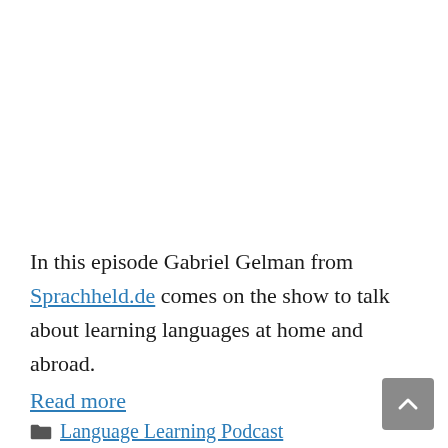In this episode Gabriel Gelman from Sprachheld.de comes on the show to talk about learning languages at home and abroad.
Read more
Language Learning Podcast